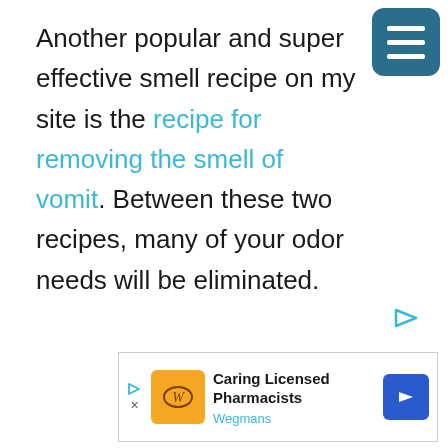Another popular and super effective smell recipe on my site is the recipe for removing the smell of vomit. Between these two recipes, many of your odor needs will be eliminated.
[Figure (other): Advertisement banner for Wegmans: Caring Licensed Pharmacists with Wegmans logo and blue arrow icon]